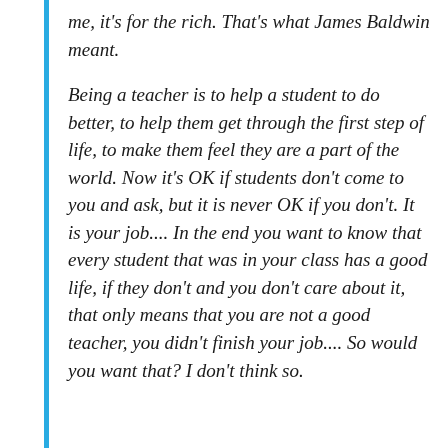me, it's for the rich. That's what James Baldwin meant.
Being a teacher is to help a student to do better, to help them get through the first step of life, to make them feel they are a part of the world. Now it's OK if students don't come to you and ask, but it is never OK if you don't. It is your job.... In the end you want to know that every student that was in your class has a good life, if they don't and you don't care about it, that only means that you are not a good teacher, you didn't finish your job.... So would you want that? I don't think so.